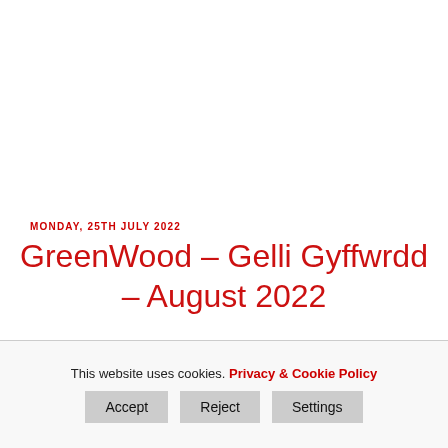MONDAY, 25TH JULY 2022
GreenWood – Gelli Gyffwrdd – August 2022
This website uses cookies. Privacy & Cookie Policy
Accept  Reject  Settings